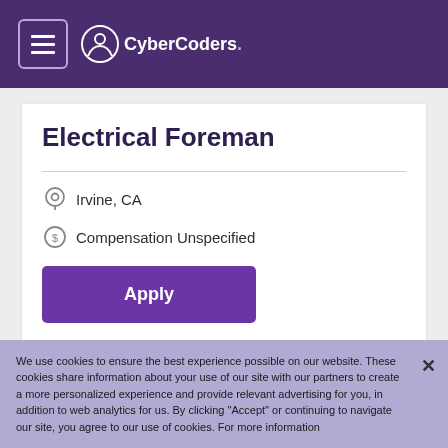CyberCoders
Electrical Foreman
Irvine, CA
Compensation Unspecified
Apply
We use cookies to ensure the best experience possible on our website. These cookies share information about your use of our site with our partners to create a more personalized experience and provide relevant advertising for you, in addition to web analytics for us. By clicking "Accept" or continuing to navigate our site, you agree to our use of cookies. For more information